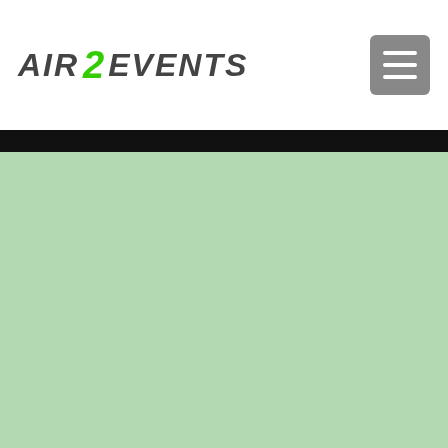AIR 2 EVENTS
[Figure (other): Green content area placeholder below navigation header]